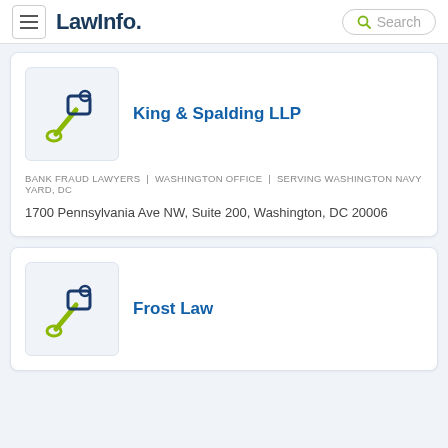LawInfo. Search
[Figure (logo): Gavel/hammer icon for King & Spalding LLP]
King & Spalding LLP
BANK FRAUD LAWYERS | WASHINGTON OFFICE | SERVING WASHINGTON NAVY YARD, DC
1700 Pennsylvania Ave NW, Suite 200, Washington, DC 20006
[Figure (logo): Gavel/hammer icon for Frost Law]
Frost Law